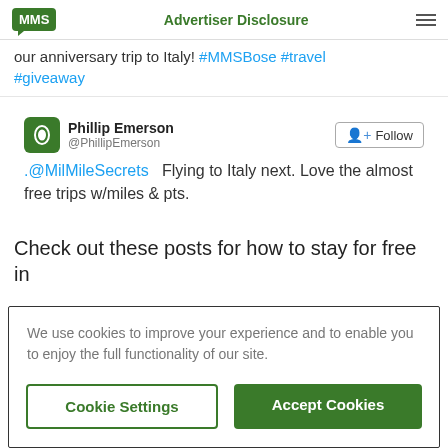MMS | Advertiser Disclosure
our anniversary trip to Italy! #MMSBose #travel #giveaway
Phillip Emerson @PhillipEmerson Follow
.@MilMileSecrets   Flying to Italy next. Love the almost free trips w/miles & pts.
Check out these posts for how to stay for free in
We use cookies to improve your experience and to enable you to enjoy the full functionality of our site.
Cookie Settings | Accept Cookies